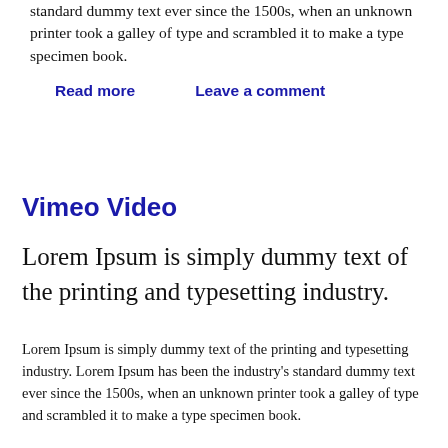standard dummy text ever since the 1500s, when an unknown printer took a galley of type and scrambled it to make a type specimen book.
Read more   Leave a comment
Vimeo Video
Lorem Ipsum is simply dummy text of the printing and typesetting industry.
Lorem Ipsum is simply dummy text of the printing and typesetting industry. Lorem Ipsum has been the industry's standard dummy text ever since the 1500s, when an unknown printer took a galley of type and scrambled it to make a type specimen book.